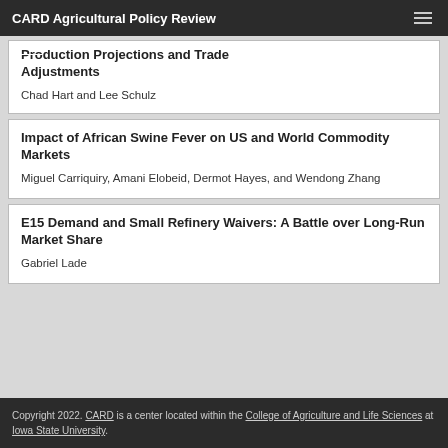CARD Agricultural Policy Review
Production Projections and Trade Adjustments
Chad Hart and Lee Schulz
Impact of African Swine Fever on US and World Commodity Markets
Miguel Carriquiry, Amani Elobeid, Dermot Hayes, and Wendong Zhang
E15 Demand and Small Refinery Waivers: A Battle over Long-Run Market Share
Gabriel Lade
Copyright 2022. CARD is a center located within the College of Agriculture and Life Sciences at Iowa State University.